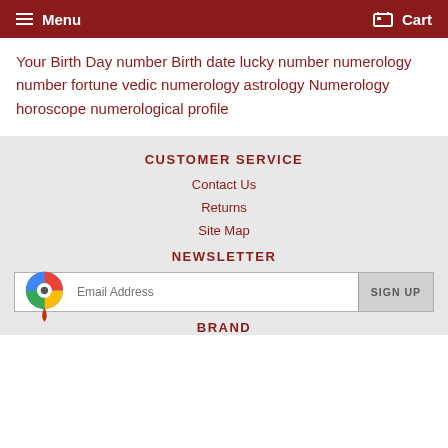Menu  Cart
Your Birth Day number Birth date lucky number numerology number fortune vedic numerology astrology Numerology horoscope numerological profile
CUSTOMER SERVICE
Contact Us
Returns
Site Map
NEWSLETTER
Email Address  SIGN UP
BRAND